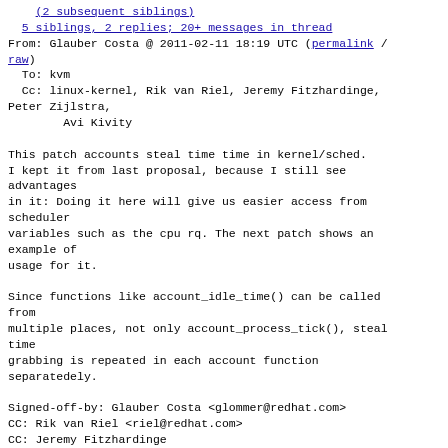(2 subsequent siblings)
5 siblings, 2 replies; 20+ messages in thread
From: Glauber Costa @ 2011-02-11 18:19 UTC (permalink / raw)
  To: kvm
  Cc: linux-kernel, Rik van Riel, Jeremy Fitzhardinge, Peter Zijlstra,
        Avi Kivity

This patch accounts steal time time in kernel/sched.
I kept it from last proposal, because I still see advantages
in it: Doing it here will give us easier access from scheduler
variables such as the cpu rq. The next patch shows an example of
usage for it.

Since functions like account_idle_time() can be called from
multiple places, not only account_process_tick(), steal time
grabbing is repeated in each account function separatedely.

Signed-off-by: Glauber Costa <glommer@redhat.com>
CC: Rik van Riel <riel@redhat.com>
CC: Jeremy Fitzhardinge
<jeremy.fitzhardinge@citrix.com>
CC: Peter Zijlstra <peterz@infradead.org>
CC: Avi Kivity <avi@redhat.com>